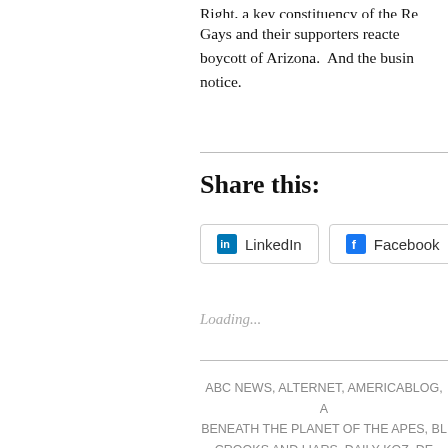Right, a key constituency of the Re...
Gays and their supporters reacted... boycott of Arizona. And the busin... notice.
Share this:
[Figure (other): Share buttons: LinkedIn, Facebook, Email]
Loading...
ABC NEWS, ALTERNET, AMERICABLOG, A... BENEATH THE PLANET OF THE APES, BLO... CROOKS AND LIARS, DAILY KOZ, DE... FACEBOOK, FBI, FIVETHIRTYEIGHT, GU... STONEMAN DOUGLAS HIGH SCHOOL... NATIONAL RIFLE ASSOCIATION, NBC NEW...